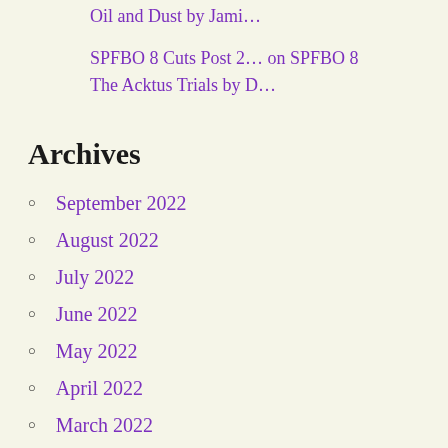Oil and Dust by Jami…
SPFBO 8 Cuts Post 2… on SPFBO 8 The Acktus Trials by D…
Archives
September 2022
August 2022
July 2022
June 2022
May 2022
April 2022
March 2022
February 2022
January 2022